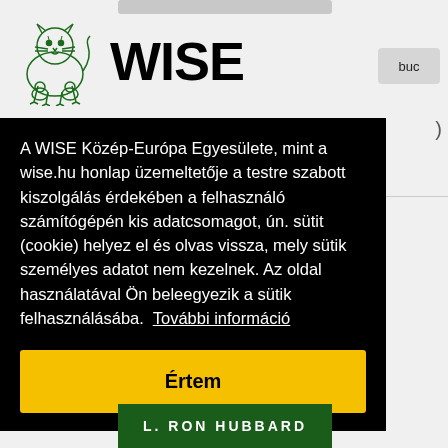[Figure (logo): WISE Közép-Európa Egyesülete logo: green tiger illustration on the left, bold black WISE text on the right]
A WISE Közép-Európa Egyesülete, mint a wise.hu honlap üzemeltetője a testre szabott kiszolgálás érdekében a felhasználó számítógépén kis adatcsomagot, ún. sütit (cookie) helyez el és olvas vissza, mely sütik személyes adatot nem kezelnek. Az oldal használatával Ön beleegyezik a sütik felhasználásába.  További információ
Értem